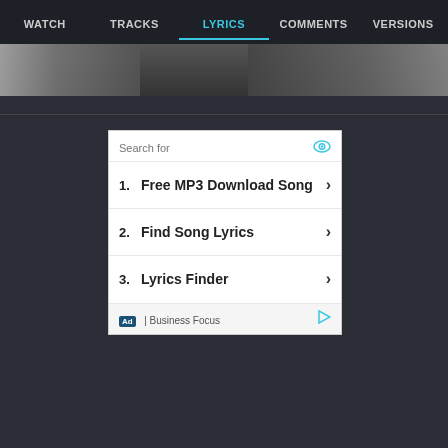WATCH | TRACKS | LYRICS | COMMENTS | VERSIONS
[Figure (photo): Partial photo strip showing person(s) in dark clothing, cropped at top]
[Figure (screenshot): Advertisement box with search results: 1. Free MP3 Download Song, 2. Find Song Lyrics, 3. Lyrics Finder. Footer shows Ad | Business Focus label.]